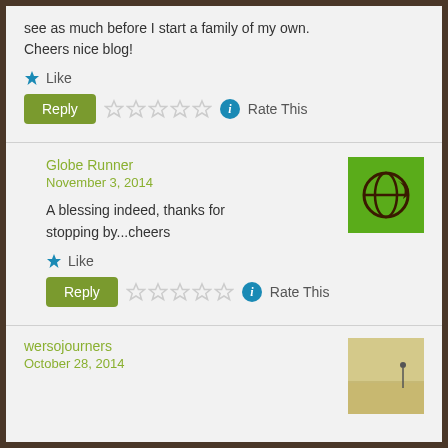see as much before I start a family of my own. Cheers nice blog!
Like
Reply  ☆☆☆☆☆ ⓘ Rate This
Globe Runner
November 3, 2014
A blessing indeed, thanks for stopping by...cheers
Like
Reply  ☆☆☆☆☆ ⓘ Rate This
wersojourners
October 28, 2014